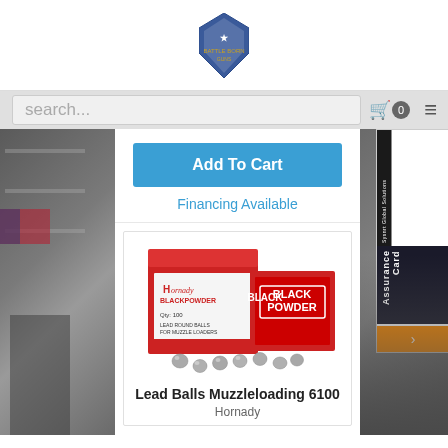[Figure (logo): Shield-shaped police/gun store logo in blue and silver]
[Figure (screenshot): Search bar with placeholder 'search...', cart icon with 0, hamburger menu icon]
Add To Cart
Financing Available
[Figure (photo): Two red Hornady Black Powder boxes with lead round balls (qty 100) for muzzle loaders, with metal balls scattered in front]
Lead Balls Muzzleloading 6100
Hornady